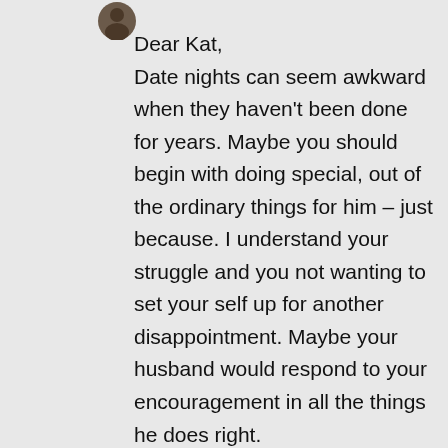[Figure (photo): Small circular avatar/profile photo in the upper left area]
Dear Kat,
Date nights can seem awkward when they haven't been done for years. Maybe you should begin with doing special, out of the ordinary things for him – just because. I understand your struggle and you not wanting to set your self up for another disappointment. Maybe your husband would respond to your encouragement in all the things he does right.
All marriages are different and what works for one couple may or may not work for another. The important thing is to find what works for you.
I hope this helps and you are encouraged.
We appreciate your comment!